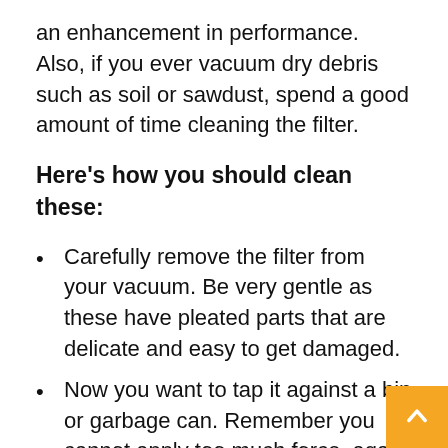an enhancement in performance. Also, if you ever vacuum dry debris such as soil or sawdust, spend a good amount of time cleaning the filter.
Here's how you should clean these:
Carefully remove the filter from your vacuum. Be very gentle as these have pleated parts that are delicate and easy to get damaged.
Now you want to tap it against a bin or garbage can. Remember you cannot apply too much force, again the pleats are delicate that's why.
You should be able to see a lot of loose debris coming off the pleats that got caught while vacuuming. It will take some time to